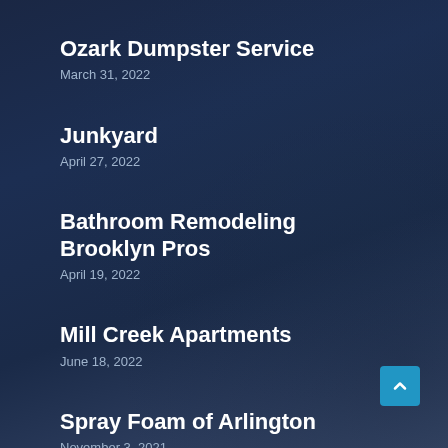Ozark Dumpster Service
March 31, 2022
Junkyard
April 27, 2022
Bathroom Remodeling Brooklyn Pros
April 19, 2022
Mill Creek Apartments
June 18, 2022
Spray Foam of Arlington
November 3, 2021